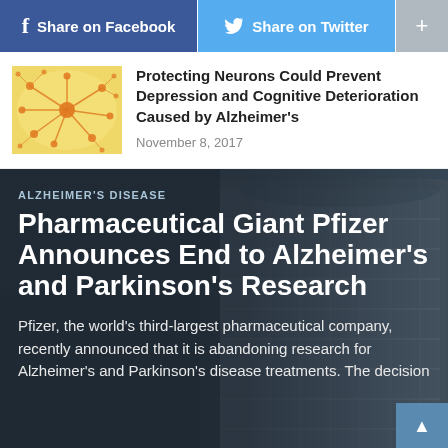Share on Facebook | Share on Twitter | +
[Figure (illustration): Neuron/brain cell illustration with orange nodes and connections on a pale yellow background]
Protecting Neurons Could Prevent Depression and Cognitive Deterioration Caused by Alzheimer's
November 8, 2017
ALZHEIMER'S DISEASE
Pharmaceutical Giant Pfizer Announces End to Alzheimer's and Parkinson's Research
Pfizer, the world's third-largest pharmaceutical company, recently announced that it is abandoning research for Alzheimer's and Parkinson's disease treatments. The decision